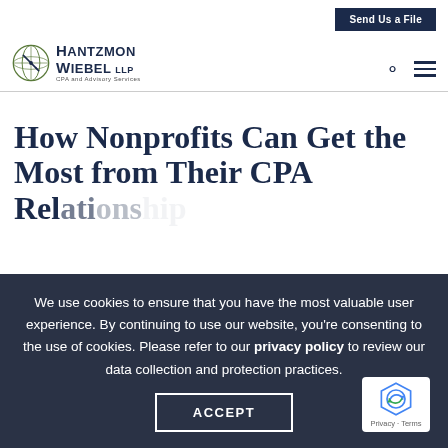Send Us a File
[Figure (logo): Hantzmon Wiebel LLP CPA and Advisory Services logo with circular compass/globe emblem]
How Nonprofits Can Get the Most from Their CPA Relationship
We use cookies to ensure that you have the most valuable user experience. By continuing to use our website, you're consenting to the use of cookies. Please refer to our privacy policy to review our data collection and protection practices.
ACCEPT